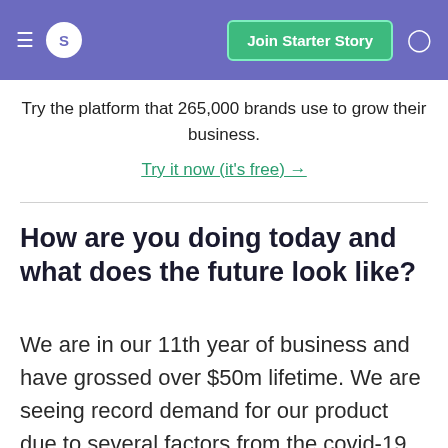S  Join Starter Story
Try the platform that 265,000 brands use to grow their business.
Try it now (it's free) →
How are you doing today and what does the future look like?
We are in our 11th year of business and have grossed over $50m lifetime. We are seeing record demand for our product due to several factors from the covid-19